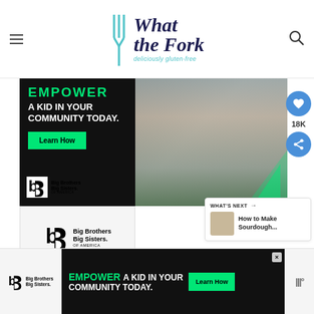[Figure (logo): What the Fork - deliciously gluten-free blog logo with fork icon and stylized script text]
[Figure (photo): Advertisement for Big Brothers Big Sisters of America - EMPOWER A KID IN YOUR COMMUNITY TODAY with Learn How button and photo of adult mentor and child working on robotics]
[Figure (logo): Big Brothers Big Sisters of America logo]
18K
WHAT'S NEXT → How to Make Sourdough...
[Figure (screenshot): Bottom advertisement banner - EMPOWER A KID IN YOUR COMMUNITY TODAY with Learn How button and Big Brothers Big Sisters logo]